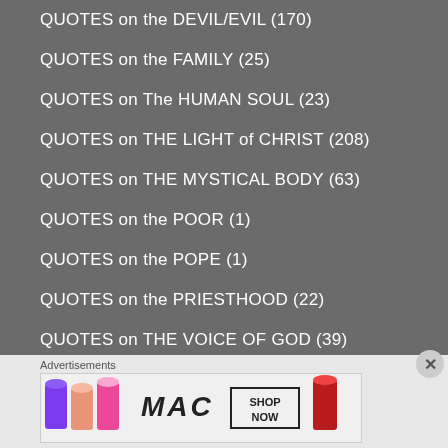QUOTES on the DEVIL/EVIL (170)
QUOTES on the FAMILY (25)
QUOTES on The HUMAN SOUL (23)
QUOTES on THE LIGHT of CHRIST (208)
QUOTES on THE MYSTICAL BODY (63)
QUOTES on the POOR (1)
QUOTES on the POPE (1)
QUOTES on the PRIESTHOOD (22)
QUOTES on THE VOICE OF GOD (39)
QUOTES on THE WORLD (137)
QUOTES on TIME (37)
Advertisements
[Figure (photo): MAC cosmetics advertisement showing colorful lipsticks and 'SHOP NOW' button]